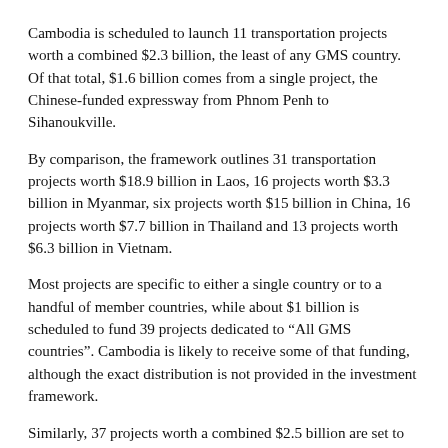Cambodia is scheduled to launch 11 transportation projects worth a combined $2.3 billion, the least of any GMS country. Of that total, $1.6 billion comes from a single project, the Chinese-funded expressway from Phnom Penh to Sihanoukville.
By comparison, the framework outlines 31 transportation projects worth $18.9 billion in Laos, 16 projects worth $3.3 billion in Myanmar, six projects worth $15 billion in China, 16 projects worth $7.7 billion in Thailand and 13 projects worth $6.3 billion in Vietnam.
Most projects are specific to either a single country or to a handful of member countries, while about $1 billion is scheduled to fund 39 projects dedicated to “All GMS countries”. Cambodia is likely to receive some of that funding, although the exact distribution is not provided in the investment framework.
Similarly, 37 projects worth a combined $2.5 billion are set to be implemented in Cambodia and several other GMS countries, but the framework does not detail how that money is expected to be distributed between the countries either.